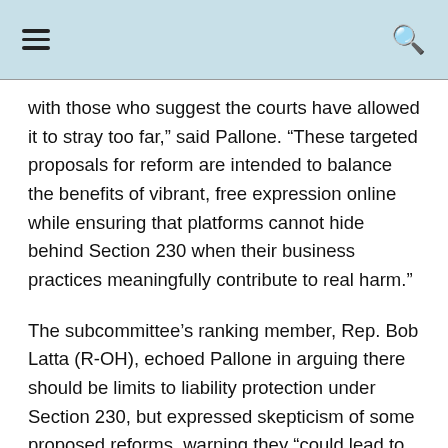with those who suggest the courts have allowed it to stray too far,” said Pallone. “These targeted proposals for reform are intended to balance the benefits of vibrant, free expression online while ensuring that platforms cannot hide behind Section 230 when their business practices meaningfully contribute to real harm.”
The subcommittee’s ranking member, Rep. Bob Latta (R-OH), echoed Pallone in arguing there should be limits to liability protection under Section 230, but expressed skepticism of some proposed reforms, warning they “could lead to unintended